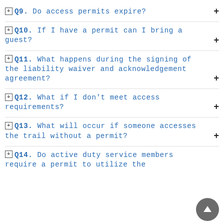Q9. Do access permits expire?
Q10. If I have a permit can I bring a guest?
Q11. What happens during the signing of the liability waiver and acknowledgement agreement?
Q12. What if I don't meet access requirements?
Q13. What will occur if someone accesses the trail without a permit?
Q14. Do active duty service members require a permit to utilize the